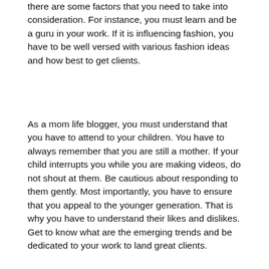there are some factors that you need to take into consideration. For instance, you must learn and be a guru in your work. If it is influencing fashion, you have to be well versed with various fashion ideas and how best to get clients.
As a mom life blogger, you must understand that you have to attend to your children. You have to always remember that you are still a mother. If your child interrupts you while you are making videos, do not shout at them. Be cautious about responding to them gently. Most importantly, you have to ensure that you appeal to the younger generation. That is why you have to understand their likes and dislikes. Get to know what are the emerging trends and be dedicated to your work to land great clients.